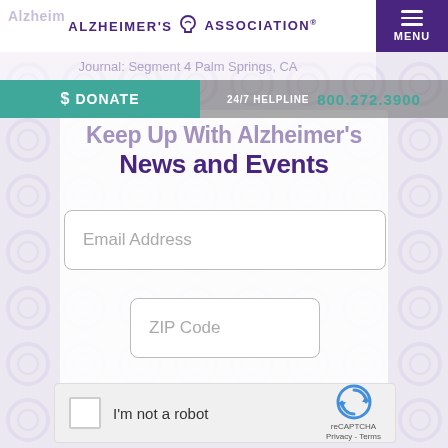ALZHEIMER'S ASSOCIATION®
Journal: Segment 4  Palm Springs, CA
DONATE
24/7 HELPLINE  800.272.3900
Keep Up With Alzheimer's News and Events
[Figure (screenshot): Email Address input field]
[Figure (screenshot): ZIP Code input field]
[Figure (screenshot): reCAPTCHA widget with checkbox labeled I'm not a robot, Privacy - Terms]